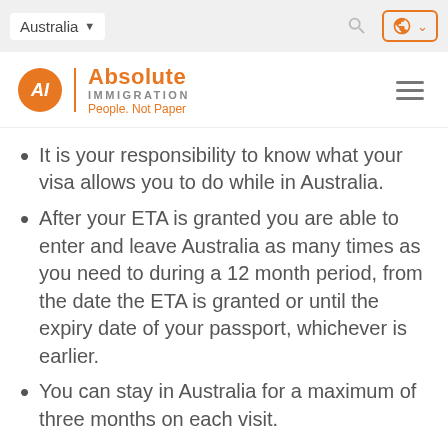Australia
[Figure (logo): Absolute Immigration logo with orange circle containing 'AI' initials, orange divider line, and text 'Absolute IMMIGRATION People. Not Paper']
It is your responsibility to know what your visa allows you to do while in Australia.
After your ETA is granted you are able to enter and leave Australia as many times as you need to during a 12 month period, from the date the ETA is granted or until the expiry date of your passport, whichever is earlier.
You can stay in Australia for a maximum of three months on each visit.